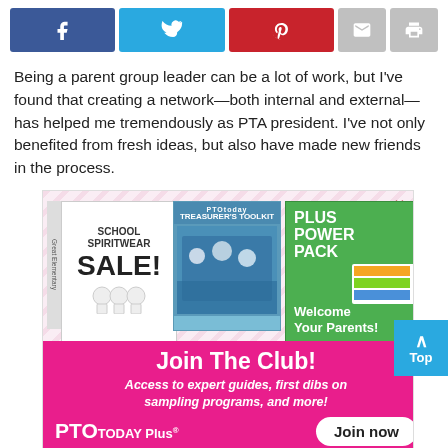[Figure (screenshot): Social media sharing buttons: Facebook (blue), Twitter (light blue), Pinterest (red), Email (grey), Print (grey)]
Being a parent group leader can be a lot of work, but I've found that creating a network—both internal and external—has helped me tremendously as PTA president. I've not only benefited from fresh ideas, but also have made new friends in the process.
[Figure (infographic): PTO Today Plus advertisement showing school spiritwear sale booklet, Treasurer's Toolkit, and Plus Power Pack with Welcome Your Parents materials. Pink banner reads 'Join The Club! Access to expert guides, first dibs on sampling programs, and more!' with PTO Today Plus logo and Join now button.]